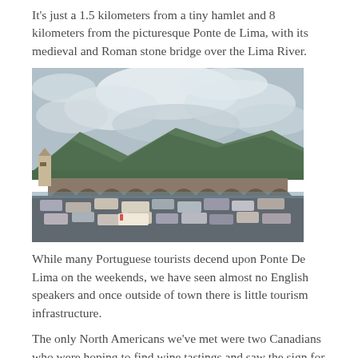It's just a 1.5 kilometers from a tiny hamlet and 8 kilometers from the picturesque Ponte de Lima, with its medieval and Roman stone bridge over the Lima River.
[Figure (photo): Photograph of the medieval Roman stone bridge over the Lima River in Ponte de Lima, Portugal. Many arches span the river, with cars parked in the foreground and green mountains under a cloudy sky in the background.]
While many Portuguese tourists decend upon Ponte De Lima on the weekends, we have seen almost no English speakers and once outside of town there is little tourism infrastructure.
The only North Americans we've met were two Canadians who were hoping to find wine tastings and saw the sign for the house, so knocked on our door. While there is ostensibly a